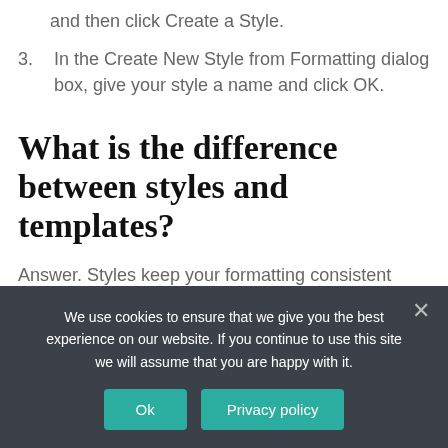and then click Create a Style.
3. In the Create New Style from Formatting dialog box, give your style a name and click OK.
What is the difference between styles and templates?
Answer. Styles keep your formatting consistent within a document. Themes keep your look and
We use cookies to ensure that we give you the best experience on our website. If you continue to use this site we will assume that you are happy with it.
Ok
Privacy policy